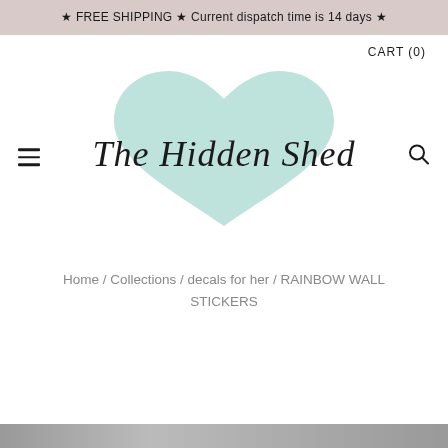★ FREE SHIPPING ★ Current dispatch time is 14 days ★
CART (0)
[Figure (logo): The Hidden Shed logo with a light teal/mint heart shape behind the cursive text 'The Hidden Shed', flanked by a hamburger menu icon on the left and a search icon on the right]
Home / Collections / decals for her / RAINBOW WALL STICKERS